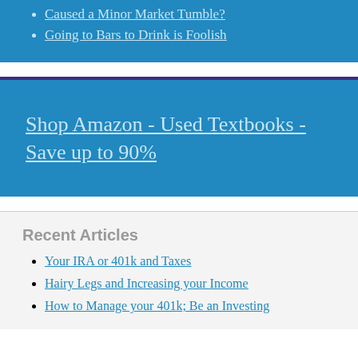Caused a Minor Market Tumble?
Going to Bars to Drink is Foolish
Shop Amazon - Used Textbooks - Save up to 90%
Recent Articles
Your IRA or 401k and Taxes
Hairy Legs and Increasing your Income
How to Manage your 401k; Be an Investing